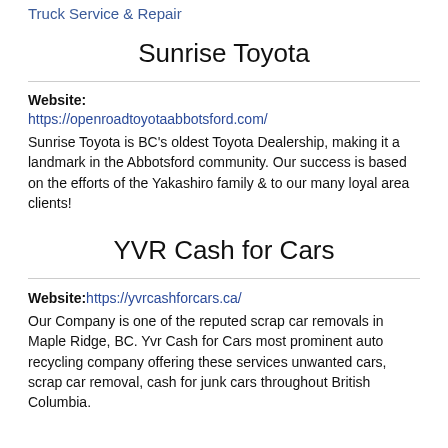Truck Service & Repair
Sunrise Toyota
Website: https://openroadtoyotaabbotsford.com/
Sunrise Toyota is BC's oldest Toyota Dealership, making it a landmark in the Abbotsford community. Our success is based on the efforts of the Yakashiro family & to our many loyal area clients!
YVR Cash for Cars
Website: https://yvrcashforcars.ca/
Our Company is one of the reputed scrap car removals in Maple Ridge, BC. Yvr Cash for Cars most prominent auto recycling company offering these services unwanted cars, scrap car removal, cash for junk cars throughout British Columbia.